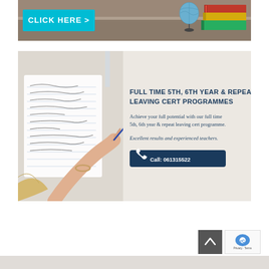[Figure (photo): Top banner image showing stacked books (red, yellow, green) on a wooden desk with a globe, and a cyan 'CLICK HERE >' button on the left]
[Figure (photo): Advertisement banner for full time 5th, 6th year & repeat leaving cert programmes. Left side shows a student writing in a notebook (overhead view, hand holding blue pen). Right side has dark navy headline text, body text, italic tagline, and a dark navy 'Call: 061315522' button.]